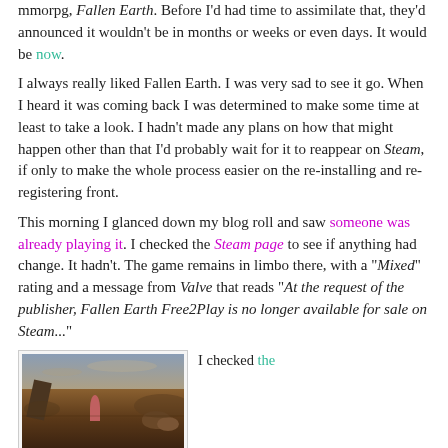mmorpg, Fallen Earth. Before I'd had time to assimilate that, they'd announced it wouldn't be in months or weeks or even days. It would be now.
I always really liked Fallen Earth. I was very sad to see it go. When I heard it was coming back I was determined to make some time at least to take a look. I hadn't made any plans on how that might happen other than that I'd probably wait for it to reappear on Steam, if only to make the whole process easier on the re-installing and re-registering front.
This morning I glanced down my blog roll and saw someone was already playing it. I checked the Steam page to see if anything had change. It hadn't. The game remains in limbo there, with a "Mixed" rating and a message from Valve that reads "At the request of the publisher, Fallen Earth Free2Play is no longer available for sale on Steam..."
[Figure (screenshot): Screenshot from the game Fallen Earth showing a post-apocalyptic landscape with a character standing in a desert environment with a damaged structure on the left and rocky terrain.]
I checked the